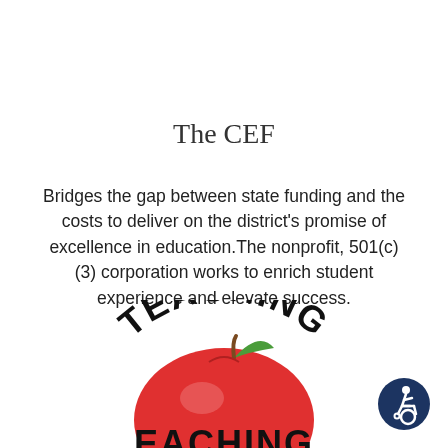The CEF
Bridges the gap between state funding and the costs to deliver on the district's promise of excellence in education.The nonprofit, 501(c)(3) corporation works to enrich student experience and elevate success.
[Figure (logo): Circular logo with text 'TEACHING' arched at top, an apple illustration below, and 'EACHING' visible — partial view of a school/education foundation logo]
[Figure (logo): Circular dark navy blue accessibility icon showing a person in motion in a wheelchair]